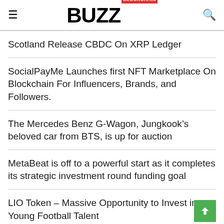BUZZ BLOCKCHAIN
Scotland Release CBDC On XRP Ledger
SocialPayMe Launches first NFT Marketplace On Blockchain For Influencers, Brands, and Followers.
The Mercedes Benz G-Wagon, Jungkook's beloved car from BTS, is up for auction
MetaBeat is off to a powerful start as it completes its strategic investment round funding goal
LIO Token – Massive Opportunity to Invest in Young Football Talent